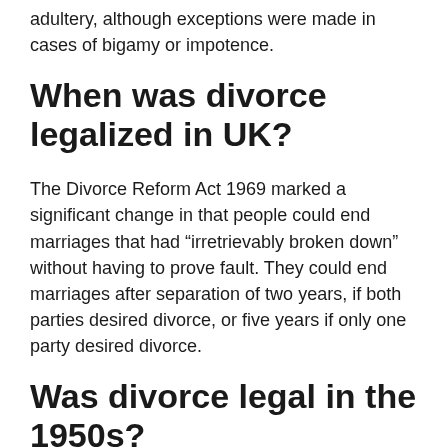adultery, although exceptions were made in cases of bigamy or impotence.
When was divorce legalized in UK?
The Divorce Reform Act 1969 marked a significant change in that people could end marriages that had “irretrievably broken down” without having to prove fault. They could end marriages after separation of two years, if both parties desired divorce, or five years if only one party desired divorce.
Was divorce legal in the 1950s?